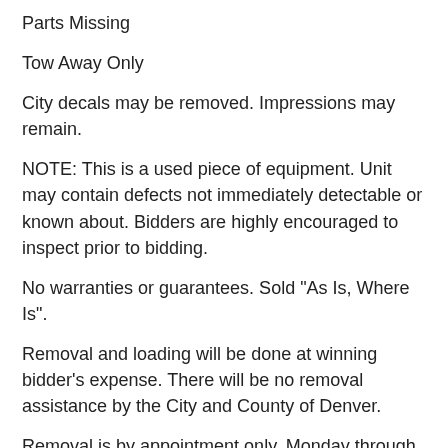Parts Missing
Tow Away Only
City decals may be removed. Impressions may remain.
NOTE: This is a used piece of equipment. Unit may contain defects not immediately detectable or known about. Bidders are highly encouraged to inspect prior to bidding.
No warranties or guarantees. Sold "As Is, Where Is".
Removal and loading will be done at winning bidder's expense. There will be no removal assistance by the City and County of Denver.
Removal is by appointment only, Monday through Friday, 8 AM - 2 PM, excluding legal holidays.
Upon auction payment verification, buyer must pre-arrange pick-up time and date with City and County of Denver employee at least 24 hours in advance. No exceptions! The